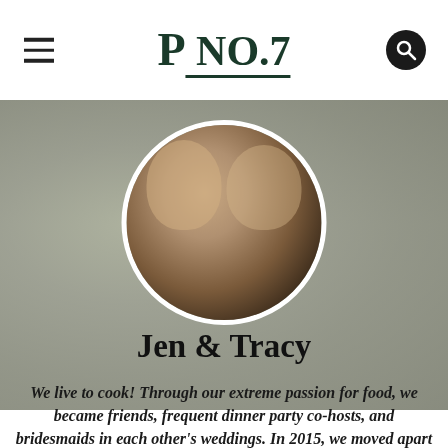P NO.7
[Figure (photo): Circular profile photo of two young women (Jen and Tracy) posing closely together, smiling at the camera. Background is blurred greenery.]
Jen & Tracy
We live to cook! Through our extreme passion for food, we became friends, frequent dinner party co-hosts, and bridesmaids in each other's weddings. In 2015, we moved apart to LA and SF, and poof! went the incredible wine-fueled feasts that filled each weekend. Through Pantryno7, we continue to share our passion for modern Californian-Asian